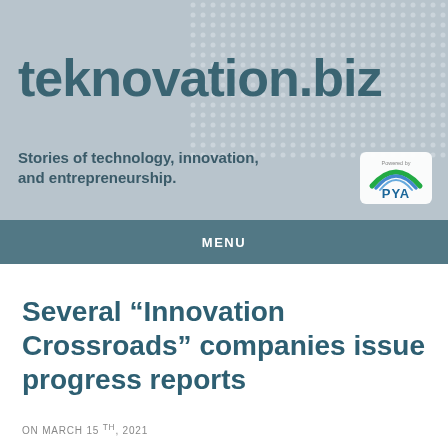teknovation.biz
Stories of technology, innovation, and entrepreneurship.
[Figure (logo): PYA logo with rainbow arc — Powered by]
MENU
Several “Innovation Crossroads” companies issue progress reports
ON MARCH 15 TH, 2021